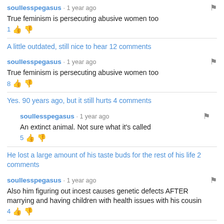soullesspegasus · 1 year ago
True feminism is persecuting abusive women too
1 👍 👎
A little outdated, still nice to hear 12 comments
soullesspegasus · 1 year ago
True feminism is persecuting abusive women too
8 👍 👎
Yes. 90 years ago, but it still hurts 4 comments
soullesspegasus · 1 year ago
An extinct animal. Not sure what it's called
5 👍 👎
He lost a large amount of his taste buds for the rest of his life 2 comments
soullesspegasus · 1 year ago
Also him figuring out incest causes genetic defects AFTER marrying and having children with health issues with his cousin
4 👍 👎